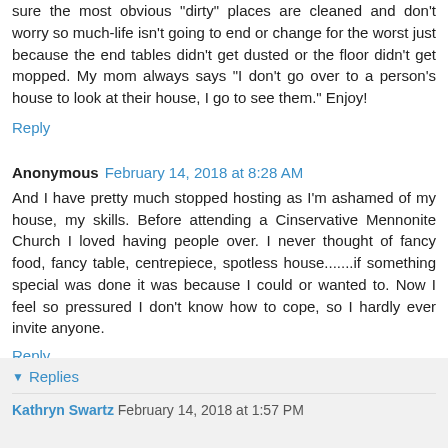sure the most obvious 'dirty' places are cleaned and don't worry so much-life isn't going to end or change for the worst just because the end tables didn't get dusted or the floor didn't get mopped. My mom always says "I don't go over to a person's house to look at their house, I go to see them." Enjoy!
Reply
Anonymous  February 14, 2018 at 8:28 AM
And I have pretty much stopped hosting as I'm ashamed of my house, my skills. Before attending a Cinservative Mennonite Church I loved having people over. I never thought of fancy food, fancy table, centrepiece, spotless house.......if something special was done it was because I could or wanted to. Now I feel so pressured I don't know how to cope, so I hardly ever invite anyone.
Reply
Replies
Kathryn Swartz  February 14, 2018 at 1:57 PM